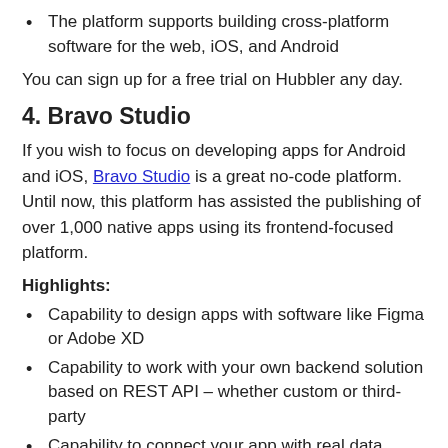The platform supports building cross-platform software for the web, iOS, and Android
You can sign up for a free trial on Hubbler any day.
4. Bravo Studio
If you wish to focus on developing apps for Android and iOS, Bravo Studio is a great no-code platform. Until now, this platform has assisted the publishing of over 1,000 native apps using its frontend-focused platform.
Highlights:
Capability to design apps with software like Figma or Adobe XD
Capability to work with your own backend solution based on REST API – whether custom or third-party
Capability to connect your app with real data
You can begin using Bravo studio at a humble €19 per